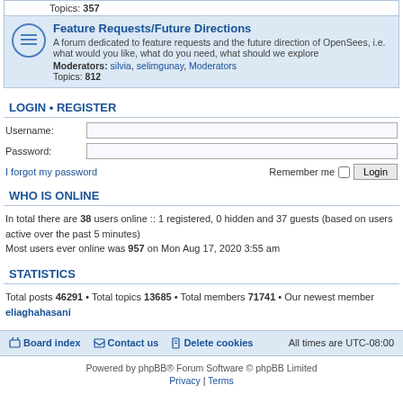Topics: 357
Feature Requests/Future Directions
A forum dedicated to feature requests and the future direction of OpenSees, i.e. what would you like, what do you need, what should we explore
Moderators: silvia, selimgunay, Moderators
Topics: 812
LOGIN • REGISTER
Username:
Password:
I forgot my password
Remember me  Login
WHO IS ONLINE
In total there are 38 users online :: 1 registered, 0 hidden and 37 guests (based on users active over the past 5 minutes)
Most users ever online was 957 on Mon Aug 17, 2020 3:55 am
STATISTICS
Total posts 46291 • Total topics 13685 • Total members 71741 • Our newest member eliaghahasani
Board index   Contact us   Delete cookies   All times are UTC-08:00
Powered by phpBB® Forum Software © phpBB Limited
Privacy | Terms